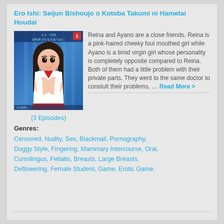Ero Ishi: Seijun Bishoujo o Kotoba Takumi ni Hametai Houdai
[Figure (illustration): Manga/anime style cover art showing a female character in a school uniform]
(3 Episodes)
Reina and Ayano are a close friends. Reina is a pink-haired cheeky foul mouthed girl while Ayano is a timid virgin girl whose personality is completely opposite compared to Reina. Both of them had a little problem with their private parts. They went to the same doctor to constult their problems, ... Read More >
Genres:
Censored, Nudity, Sex, Blackmail, Pornography, Doggy Style, Fingering, Mammary Intercourse, Oral, Cunnilingus, Fellatio, Breasts, Large Breasts, Deflowering, Female Student, Game, Erotic Game.